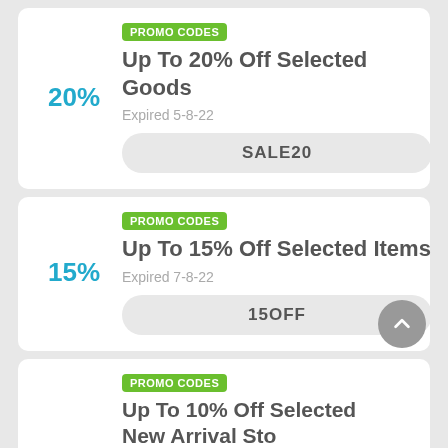PROMO CODES
Up To 20% Off Selected Goods
20%
Expired 5-8-22
SALE20
PROMO CODES
Up To 15% Off Selected Items
15%
Expired 7-8-22
15OFF
PROMO CODES
Up To 10% Off Selected New Arrival Stock